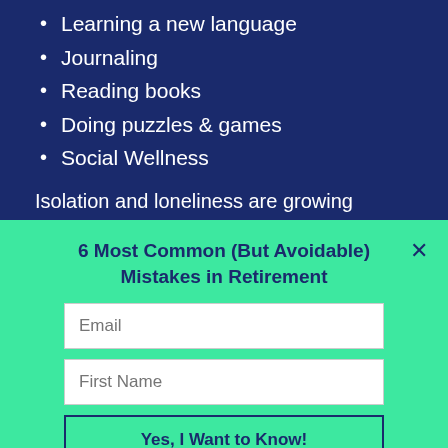Learning a new language
Journaling
Reading books
Doing puzzles & games
Social Wellness
Isolation and loneliness are growing issues, especially in older adults. And entering into retirement is a transitionary time in which
6 Most Common (But Avoidable) Mistakes in Retirement
Email
First Name
Yes, I Want to Know!